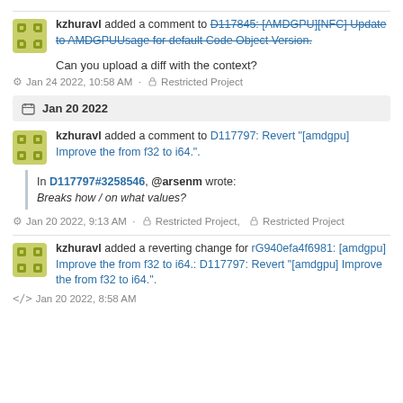kzhuravl added a comment to D117845: [AMDGPU][NFC] Update to AMDGPUUsage for default Code Object Version.
Can you upload a diff with the context?
Jan 24 2022, 10:58 AM · Restricted Project
Jan 20 2022
kzhuravl added a comment to D117797: Revert "[amdgpu] Improve the from f32 to i64.".
In D117797#3258546, @arsenm wrote: Breaks how / on what values?
Jan 20 2022, 9:13 AM · Restricted Project, Restricted Project
kzhuravl added a reverting change for rG940efa4f6981: [amdgpu] Improve the from f32 to i64.: D117797: Revert "[amdgpu] Improve the from f32 to i64.".
Jan 20 2022, 8:58 AM